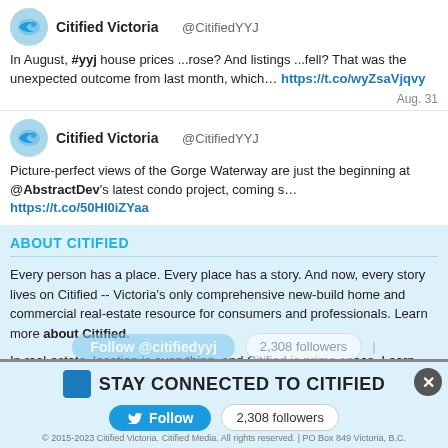Citified Victoria @CitifiedYYJ
In August, #yyj house prices ...rose? And listings ...fell? That was the unexpected outcome from last month, which… https://t.co/wyZsaVjqvy
Aug. 31
Citified Victoria @CitifiedYYJ
Picture-perfect views of the Gorge Waterway are just the beginning at @AbstractDev's latest condo project, coming s… https://t.co/50HI0iZYaa
ABOUT CITIFIED
Every person has a place. Every place has a story. And now, every story lives on Citified -- Victoria's only comprehensive new-build home and commercial real-estate resource for consumers and professionals. Learn more about Citified.
In real-estate, location is everything, and Citified is prime space. Learn more about advertising opportunities on Citified.
Citified Plus - Advertise On Citified | Citified Pro | Privacy Policy | About Citified | Submit Data | Contact
STAY CONNECTED TO CITIFIED
Follow  2,308 followers